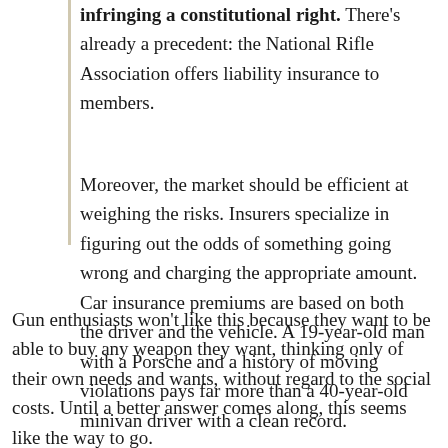infringing a constitutional right. There's already a precedent: the National Rifle Association offers liability insurance to members.
Moreover, the market should be efficient at weighing the risks. Insurers specialize in figuring out the odds of something going wrong and charging the appropriate amount. Car insurance premiums are based on both the driver and the vehicle. A 19-year-old man with a Porsche and a history of moving violations pays far more than a 40-year-old minivan driver with a clean record.
Gun enthusiasts won't like this because they want to be able to buy any weapon they want, thinking only of their own needs and wants, without regard to the social costs. Until a better answer comes along, this seems like the way to go.